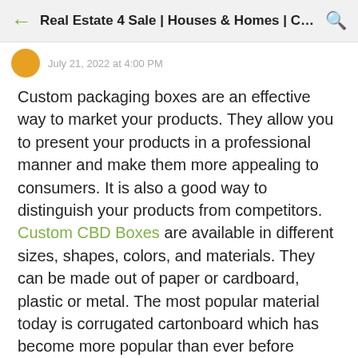Real Estate 4 Sale | Houses & Homes | Calif...
Custom packaging boxes are an effective way to market your products. They allow you to present your products in a professional manner and make them more appealing to consumers. It is also a good way to distinguish your products from competitors. Custom CBD Boxes are available in different sizes, shapes, colors, and materials. They can be made out of paper or cardboard, plastic or metal. The most popular material today is corrugated cartonboard which has become more popular than ever before because of its strength and durability. The following are some advantages of using custom packaging boxes:
Custom packaging boxes give you an opportunity to emphasize on the features of the product that makes it unique from others. You can use different colors and fonts to highlight on your product's features or...